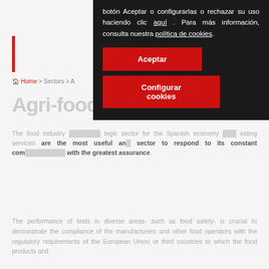ES | EN  MENÚ
Home > Sectors > A...
Agri-food
The food industry ... strategic sector for the Spanish economy ... testing services are the most useful and ... sector to respond to its constant com... with the greatest assurance.
botón Aceptar o configurarlas o rechazar su uso haciendo clic aquí . Para más información, consulta nuestra política de cookies.
Aceptar
Configurar cookies
The performance of tests in diverse areas- such as food safety- is crucial to demonstrate the compliance of the manufacturers and other food operators with the regulatory requirements of the European Union or third countries to which the food products and